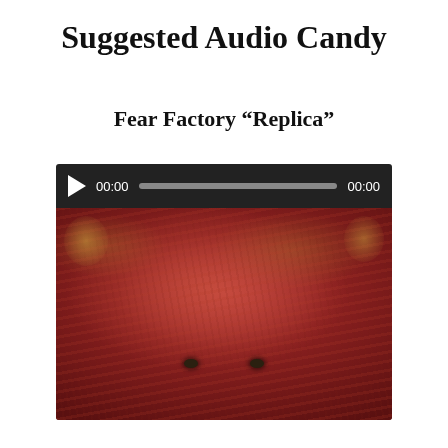Suggested Audio Candy
Fear Factory “Replica”
[Figure (screenshot): An audio player widget with dark background showing a play button, time display '00:00', a grey progress bar, and '00:00' on the right. Below the player controls is a thumbnail image showing a grotesque close-up of a face covered in brain-like flesh with visible eyes.]